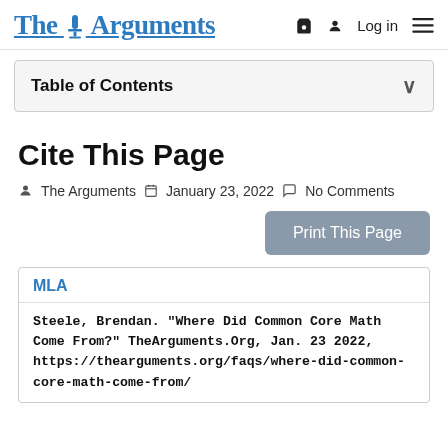The Arguments | Log in
Table of Contents
Cite This Page
The Arguments   January 23, 2022   No Comments
Print This Page
MLA
Steele, Brendan. “Where Did Common Core Math Come From?” TheArguments.Org, Jan. 23 2022, https://thearguments.org/faqs/where-did-common-core-math-come-from/